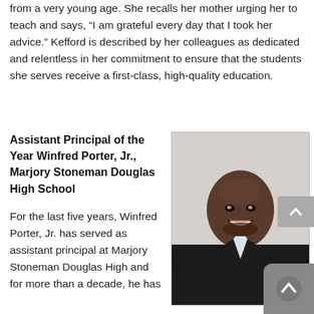from a very young age. She recalls her mother urging her to teach and says, “I am grateful every day that I took her advice.” Kefford is described by her colleagues as dedicated and relentless in her commitment to ensure that the students she serves receive a first-class, high-quality education.
Assistant Principal of the Year Winfred Porter, Jr., Marjory Stoneman Douglas High School
For the last five years, Winfred Porter, Jr. has served as assistant principal at Marjory Stoneman Douglas High and for more than a decade, he has
[Figure (photo): Professional headshot of Winfred Porter, Jr., a man in a dark suit and patterned tie, smiling at the camera against a light gray background.]